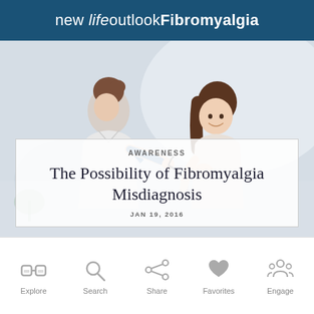new life outlook Fibromyalgia
[Figure (photo): A female doctor in a white coat using a stethoscope on a smiling female patient against a light background.]
AWARENESS
The Possibility of Fibromyalgia Misdiagnosis
JAN 19, 2016
Explore
Search
Share
Favorites
Engage